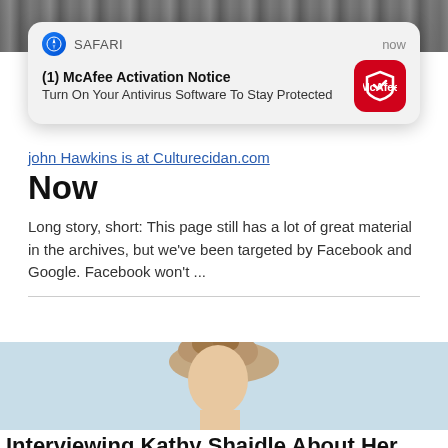[Figure (screenshot): Background photo strip at the top of the page, partially visible, grayscale city/street scene]
[Figure (infographic): iOS Safari push notification card. Shows Safari compass icon, 'SAFARI' label, 'now' timestamp. Title: '(1) McAfee Activation Notice'. Body: 'Turn On Your Antivirus Software To Stay Protected'. McAfee red shield icon on right.]
John Hawkins is at Culturecidan.com Now
Long story, short: This page still has a lot of great material in the archives, but we've been targeted by Facebook and Google. Facebook won't ...
[Figure (photo): Photo of a young woman with vintage 1950s-style victory roll hair, looking down, wearing a light floral top, pink flower earring, soft blue/white background]
Interviewing Kathy Shaidle About Her